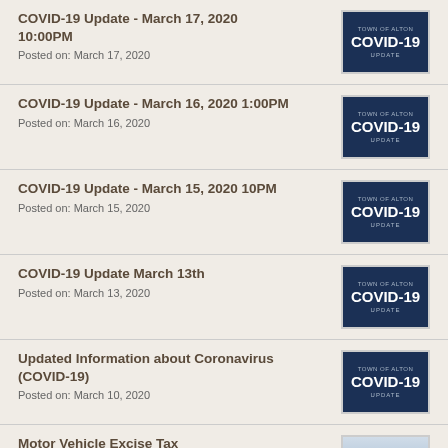COVID-19 Update - March 17, 2020 10:00PM
Posted on: March 17, 2020
COVID-19 Update - March 16, 2020 1:00PM
Posted on: March 16, 2020
COVID-19 Update - March 15, 2020 10PM
Posted on: March 15, 2020
COVID-19 Update March 13th
Posted on: March 13, 2020
Updated Information about Coronavirus (COVID-19)
Posted on: March 10, 2020
Motor Vehicle Excise Tax